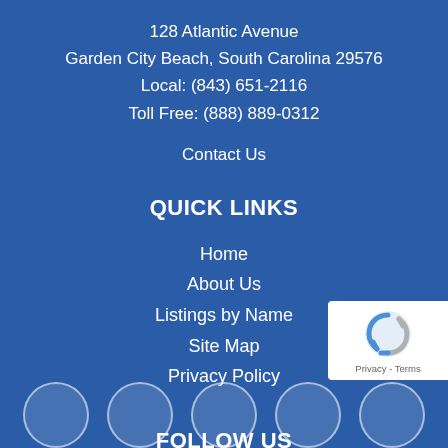128 Atlantic Avenue
Garden City Beach, South Carolina 29576
Local: (843) 651-2116
Toll Free: (888) 889-0312
Contact Us
QUICK LINKS
Home
About Us
Listings by Name
Site Map
Privacy Policy
FOLLOW US
[Figure (other): Social media icon circles (5 partially visible at bottom) and reCAPTCHA badge in bottom right corner]